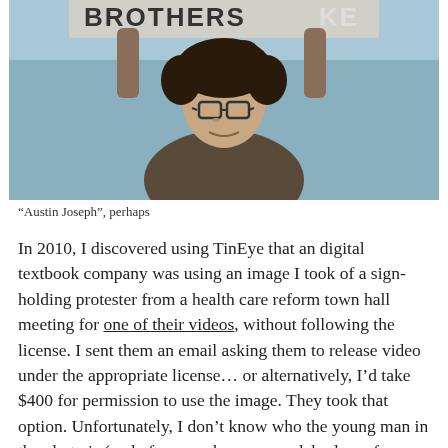[Figure (photo): A young man with curly hair and glasses holding a sign overhead that reads 'BROTHERS KEEPER' at what appears to be an outdoor protest or rally.]
“Austin Joseph”, perhaps
In 2010, I discovered using TinEye that an digital textbook company was using an image I took of a sign-holding protester from a health care reform town hall meeting for one of their videos, without following the license. I sent them an email asking them to release video under the appropriate license… or alternatively, I’d take $400 for permission to use the image. They took that option. Unfortunately, I don’t know who the young man in the photo is (and of course, have no model release form, although that shouldn’t be necessary for the